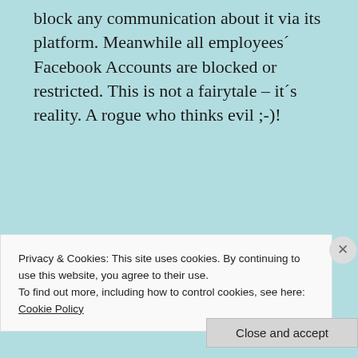block any communication about it via its platform. Meanwhile all employees´ Facebook Accounts are blocked or restricted. This is not a fairytale – it´s reality. A rogue who thinks evil ;-)!
Kai
Reply
Jeff
Privacy & Cookies: This site uses cookies. By continuing to use this website, you agree to their use.
To find out more, including how to control cookies, see here: Cookie Policy
Close and accept